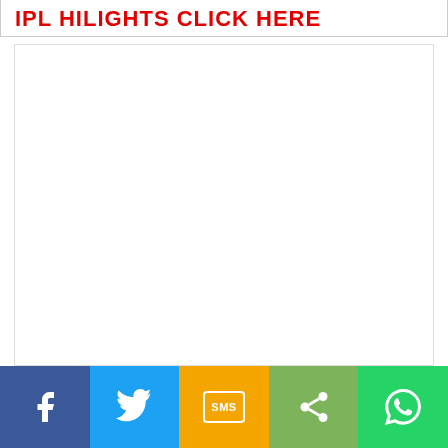IPL HILIGHTS CLICK HERE
[Figure (other): Large white blank content area below the title]
Facebook | Twitter | SMS | Share | WhatsApp social share bar